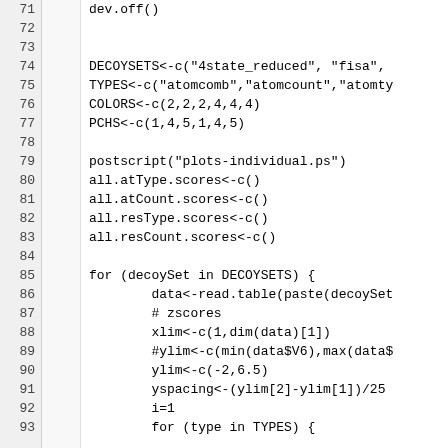Code listing lines 71-92: R script with dev.off(), DECOYSETS, TYPES, COLORS, PCHS definitions, postscript call, score variable initializations, and a for loop iterating over DECOYSETS with data reading and plot setup.